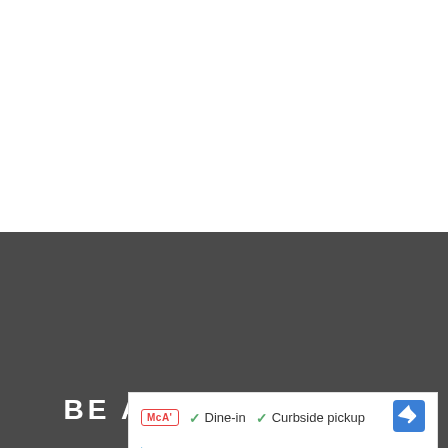[Figure (illustration): Dark gray band with three white outline icons: a hard drive, a CD/disc, and headphones]
BE A PART OF THE
[Figure (screenshot): White card UI element showing MCA badge, checkmarks for Dine-in and Curbside pickup, a blue navigation arrow, and small play/close icons]